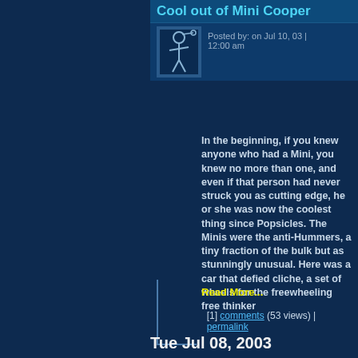Cool out of Mini Cooper
Posted by: on Jul 10, 03 | 12:00 am
In the beginning, if you knew anyone who had a Mini, you knew no more than one, and even if that person had never struck you as cutting edge, he or she was now the coolest thing since Popsicles. The Minis were the anti-Hummers, a tiny fraction of the bulk but as stunningly unusual. Here was a car that defied cliche, a set of wheels for the freewheeling free thinker
Read More...
[1] comments (53 views) | permalink
Tue Jul 08, 2003